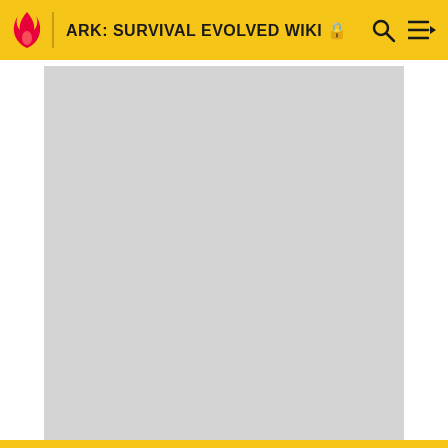ARK: SURVIVAL EVOLVED WIKI
[Figure (other): Advertisement placeholder (grey rectangle)]
РЕКЛАМА
ПОДРОБНЕЕ
Редакторы
Категории